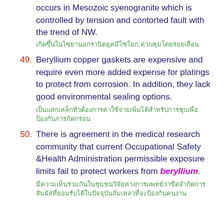occurs in Mesozoic syenogranite which is controlled by tension and contorted fault with the trend of NW.
[Thai translation of the above sentence]
49. Beryllium copper gaskets are expensive and require even more added expense for platings to protect from corrosion. In addition, they lack good environmental sealing options.
[Thai translation of item 49]
50. There is agreement in the medical research community that current Occupational Safety &Health Administration permissible exposure limits fail to protect workers from beryllium.
[Thai translation of item 50]